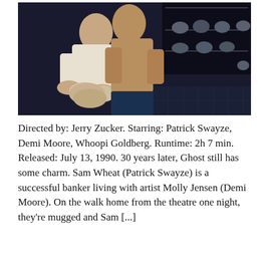[Figure (photo): A man and woman working together at a pottery wheel. The man is shirtless with clay-covered hands and the woman is behind him helping shape the clay. In the background are shelves with ceramic bowls and a tiled floor. This is from the movie Ghost (1990).]
Directed by: Jerry Zucker. Starring: Patrick Swayze, Demi Moore, Whoopi Goldberg. Runtime: 2h 7 min. Released: July 13, 1990. 30 years later, Ghost still has some charm. Sam Wheat (Patrick Swayze) is a successful banker living with artist Molly Jensen (Demi Moore). On the walk home from the theatre one night, they're mugged and Sam [...]